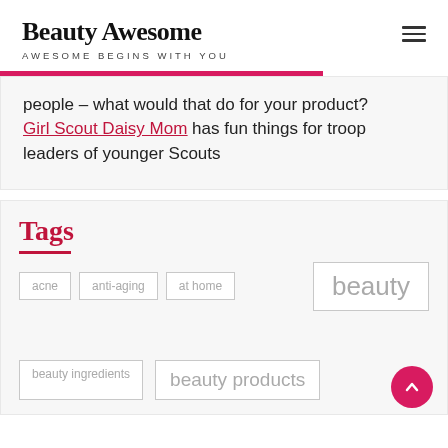Beauty Awesome — AWESOME BEGINS WITH YOU
people – what would that do for your product? Girl Scout Daisy Mom has fun things for troop leaders of younger Scouts
Tags
acne
anti-aging
at home
beauty
beauty ingredients
beauty products